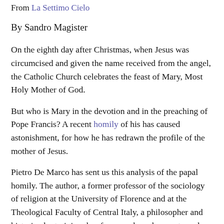From La Settimo Cielo
By Sandro Magister
On the eighth day after Christmas, when Jesus was circumcised and given the name received from the angel, the Catholic Church celebrates the feast of Mary, Most Holy Mother of God.
But who is Mary in the devotion and in the preaching of Pope Francis? A recent homily of his has caused astonishment, for how he has redrawn the profile of the mother of Jesus.
Pietro De Marco has sent us this analysis of the papal homily. The author, a former professor of the sociology of religion at the University of Florence and at the Theological Faculty of Central Italy, a philosopher and historian by training, has for years been known to and appreciated by the readers of Settimo Cielo.